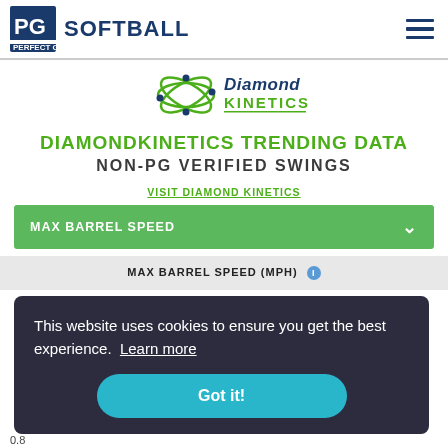PG SOFTBALL
[Figure (logo): Diamond Kinetics logo with stylized atom graphic and italic text reading Diamond Kinetics]
DIAMONDKINETICS TRENDING DATA
NON-PG VERIFIED SWINGS
VISIT DIAMOND KINETICS
MAX BARREL SPEED
MAX BARREL SPEED (MPH)
This website uses cookies to ensure you get the best experience. Learn more
Got it!
0.8